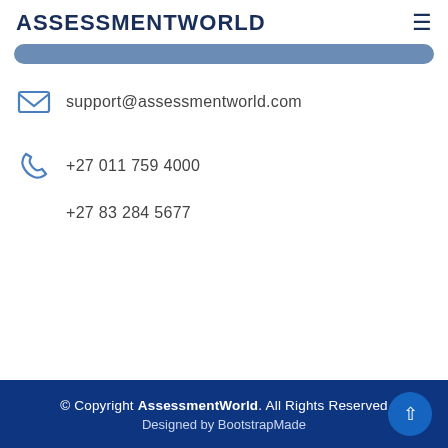ASSESSMENTWORLD
support@assessmentworld.com
+27 011 759 4000
+27 83 284 5677
© Copyright AssessmentWorld. All Rights Reserved
Designed by BootstrapMade